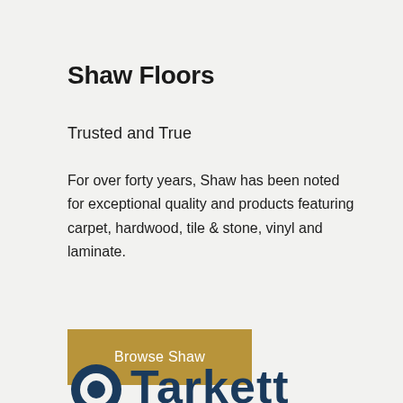Shaw Floors
Trusted and True
For over forty years, Shaw has been noted for exceptional quality and products featuring carpet, hardwood, tile & stone, vinyl and laminate.
Browse Shaw
[Figure (logo): Tarkett brand logo with a circular icon and bold navy blue text reading Tarkett, partially visible at bottom of page]